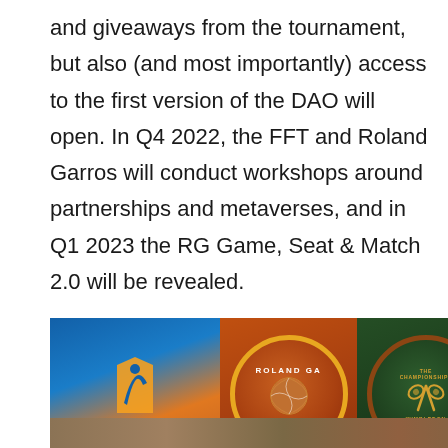and giveaways from the tournament, but also (and most importantly) access to the first version of the DAO will open. In Q4 2022, the FFT and Roland Garros will conduct workshops around partnerships and metaverses, and in Q1 2023 the RG Game, Seat & Match 2.0 will be revealed.
[Figure (illustration): Four Grand Slam tennis tournament logos side by side: Australian Open (blue/orange background with player icon), Roland Garros Paris (orange circle with tennis ball), The Championship Wimbledon (green circle with crossed rackets), US Open (dark blue background with yellow US OPEN text)]
[Figure (photo): Partial image visible at bottom edge, appears to be a tennis or outdoor scene]